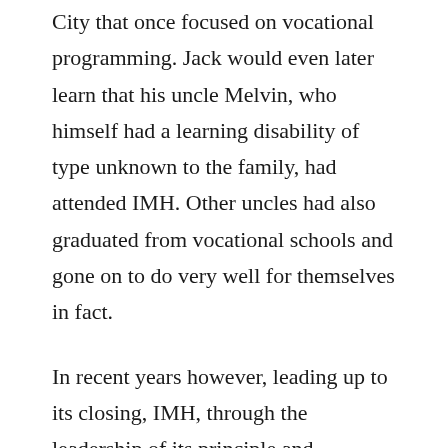City that once focused on vocational programming. Jack would even later learn that his uncle Melvin, who himself had a learning disability of type unknown to the family, had attended IMH. Other uncles had also graduated from vocational schools and gone on to do very well for themselves in fact.
In recent years however, leading up to its closing, IMH, through the leadership of its principle and dedicated staff, had evolved into a school where primarily students with various challenges attended.
Jack had this growing urge to drop into IMH to see for himself, what it was all about. That wasn't an easy task for a quiet, introverted artist but one day early fall, he did just that. He sent the Principal a message, citing